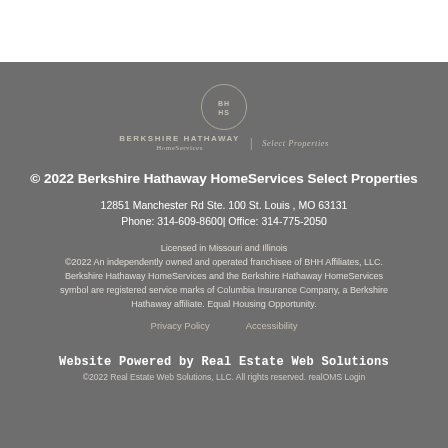[Figure (logo): Berkshire Hathaway HomeServices Select Properties logo with circular BH HS emblem and text]
© 2022 Berkshire Hathaway HomeServices Select Properties
12851 Manchester Rd Ste. 100 St. Louis , MO 63131
Phone: 314-609-8600| Office: 314-775-2050
Licensed in Missouri and Illinois
©2022 An independently owned and operated franchisee of BHH Affiliates, LLC. Berkshire Hathaway HomeServices and the Berkshire Hathaway HomeServices symbol are registered service marks of Columbia Insurance Company, a Berkshire Hathaway affiliate. Equal Housing Opportunity.
Privacy Policy        Accessibility
Website Powered by Real Estate Web Solutions
©2022 Real Estate Web Solutions, LLC. All rights reserved. realOMS Login